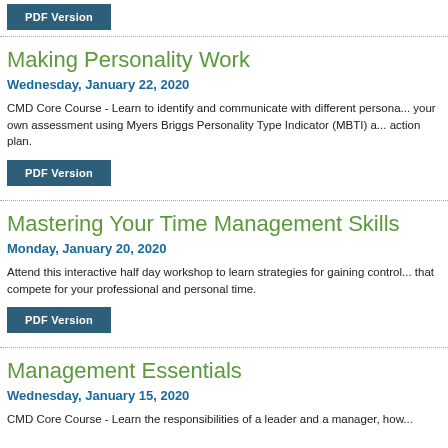[Figure (other): PDF Version button at top of page]
Making Personality Work
Wednesday, January 22, 2020
CMD Core Course - Learn to identify and communicate with different personalities, complete your own assessment using Myers Briggs Personality Type Indicator (MBTI) and develop an action plan.
[Figure (other): PDF Version button]
Mastering Your Time Management Skills
Monday, January 20, 2020
Attend this interactive half day workshop to learn strategies for gaining control over demands that compete for your professional and personal time.
[Figure (other): PDF Version button]
Management Essentials
Wednesday, January 15, 2020
CMD Core Course - Learn the responsibilities of a leader and a manager, how...